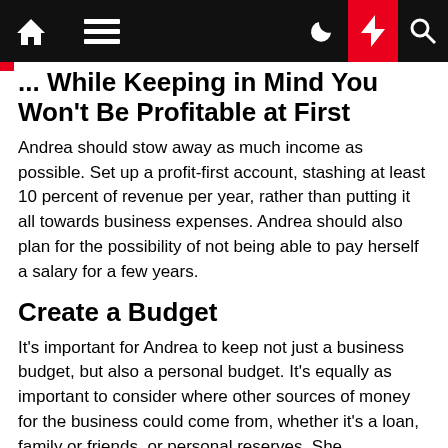... While Keeping in Mind You Won't Be Profitable at First
Andrea should stow away as much income as possible. Set up a profit-first account, stashing at least 10 percent of revenue per year, rather than putting it all towards business expenses. Andrea should also plan for the possibility of not being able to pay herself a salary for a few years.
Create a Budget
It's important for Andrea to keep not just a business budget, but also a personal budget. It's equally as important to consider where other sources of money for the business could come from, whether it's a loan, family or friends, or personal reserves. She